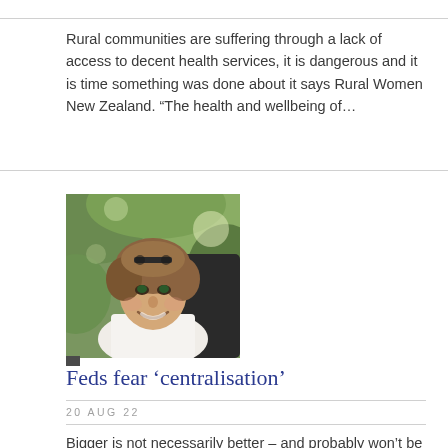Rural communities are suffering through a lack of access to decent health services, it is dangerous and it is time something was done about it says Rural Women New Zealand. “The health and wellbeing of…
[Figure (photo): Portrait photo of a smiling middle-aged woman with short curly brown hair wearing a white top, outdoors with green foliage in background]
Feds fear ‘centralisation’
20 AUG 22
Bigger is not necessarily better – and probably won’t be in the case of the proposed new mega water services entities, Federated Farmers says. While there are problems with three waters delivery and infrastructure and…